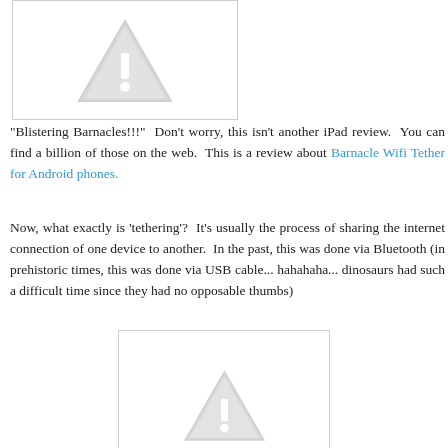[Figure (illustration): Gray warning triangle with exclamation mark, inside a white box with light border, top-left area]
"Blistering Barnacles!!!"  Don't worry, this isn't another iPad review.  You can find a billion of those on the web.  This is a review about Barnacle Wifi Tether for Android phones.
Now, what exactly is 'tethering'?  It's usually the process of sharing the internet connection of one device to another.  In the past, this was done via Bluetooth (in prehistoric times, this was done via USB cable... hahahaha... dinosaurs had such a difficult time since they had no opposable thumbs)
[Figure (illustration): Gray warning triangle with exclamation mark, inside a white box with light border, bottom-center area, partially cut off]